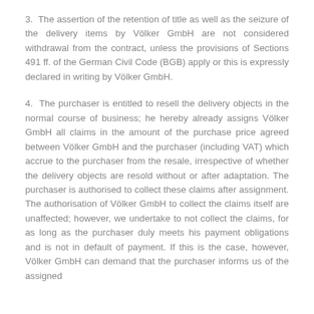3. The assertion of the retention of title as well as the seizure of the delivery items by Völker GmbH are not considered withdrawal from the contract, unless the provisions of Sections 491 ff. of the German Civil Code (BGB) apply or this is expressly declared in writing by Völker GmbH.
4. The purchaser is entitled to resell the delivery objects in the normal course of business; he hereby already assigns Völker GmbH all claims in the amount of the purchase price agreed between Völker GmbH and the purchaser (including VAT) which accrue to the purchaser from the resale, irrespective of whether the delivery objects are resold without or after adaptation. The purchaser is authorised to collect these claims after assignment. The authorisation of Völker GmbH to collect the claims itself are unaffected; however, we undertake to not collect the claims, for as long as the purchaser duly meets his payment obligations and is not in default of payment. If this is the case, however, Völker GmbH can demand that the purchaser informs us of the assigned